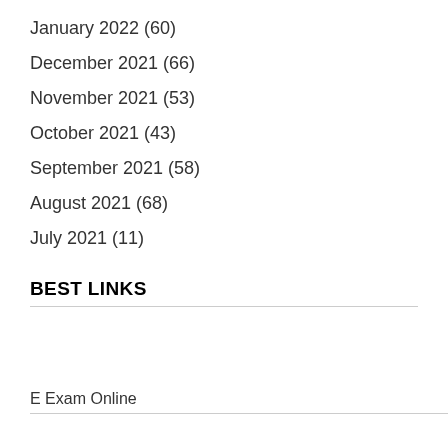January 2022 (60)
December 2021 (66)
November 2021 (53)
October 2021 (43)
September 2021 (58)
August 2021 (68)
July 2021 (11)
BEST LINKS
E Exam Online